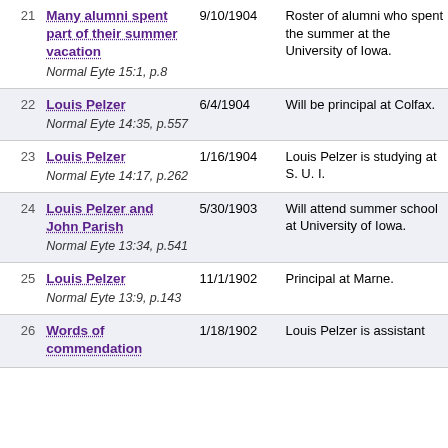| # | Title / Source | Date | Description |
| --- | --- | --- | --- |
| 21 | Many alumni spent part of their summer vacation
Normal Eyte 15:1, p.8 | 9/10/1904 | Roster of alumni who spent the summer at the University of Iowa. |
| 22 | Louis Pelzer
Normal Eyte 14:35, p.557 | 6/4/1904 | Will be principal at Colfax. |
| 23 | Louis Pelzer
Normal Eyte 14:17, p.262 | 1/16/1904 | Louis Pelzer is studying at S. U. I. |
| 24 | Louis Pelzer and John Parish
Normal Eyte 13:34, p.541 | 5/30/1903 | Will attend summer school at University of Iowa. |
| 25 | Louis Pelzer
Normal Eyte 13:9, p.143 | 11/1/1902 | Principal at Marne. |
| 26 | Words of commendation | 1/18/1902 | Louis Pelzer is assistant … |